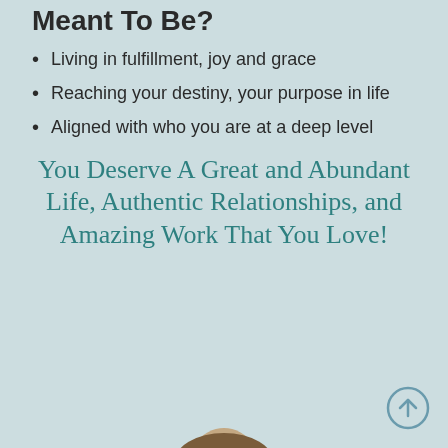Meant To Be?
Living in fulfillment, joy and grace
Reaching your destiny, your purpose in life
Aligned with who you are at a deep level
You Deserve A Great and Abundant Life, Authentic Relationships, and Amazing Work That You Love!
[Figure (photo): Top of a person's head with brown hair visible at bottom of page]
[Figure (other): Circular scroll-to-top button with upward arrow, bottom right corner]